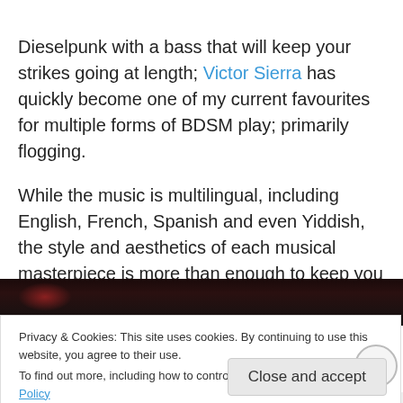Dieselpunk with a bass that will keep your strikes going at length; Victor Sierra has quickly become one of my current favourites for multiple forms of BDSM play; primarily flogging.
While the music is multilingual, including English, French, Spanish and even Yiddish, the style and aesthetics of each musical masterpiece is more than enough to keep you listening and moving to the beat regardless of understanding the lyrics.
[Figure (photo): Dark image at top of embedded media/video area, mostly black with reddish tones at top left]
Privacy & Cookies: This site uses cookies. By continuing to use this website, you agree to their use. To find out more, including how to control cookies, see here: Cookie Policy
Close and accept